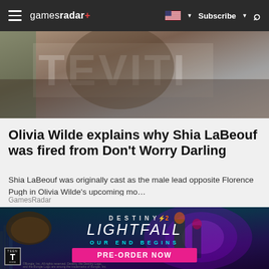gamesradar+  Subscribe
[Figure (photo): Partial view of a person or scene from Don't Worry Darling movie, cropped hero image]
Olivia Wilde explains why Shia LaBeouf was fired from Don't Worry Darling
Shia LaBeouf was originally cast as the male lead opposite Florence Pugh in Olivia Wilde's upcoming mo...
GamesRadar
[Figure (photo): Destiny 2: Lightfall advertisement banner showing game art with armored characters, text 'DESTINY 2 LIGHTFALL', 'OUR END BEGINS', and 'PRE-ORDER NOW' button with ESRB Teen rating]